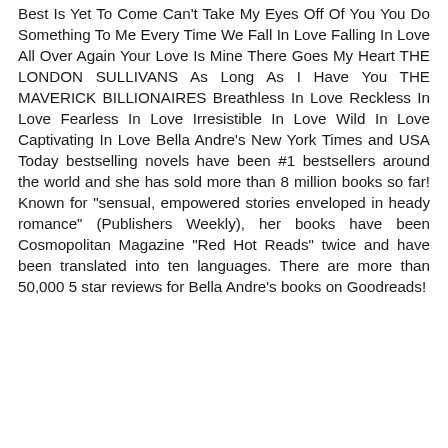Best Is Yet To Come Can't Take My Eyes Off Of You You Do Something To Me Every Time We Fall In Love Falling In Love All Over Again Your Love Is Mine There Goes My Heart THE LONDON SULLIVANS As Long As I Have You THE MAVERICK BILLIONAIRES Breathless In Love Reckless In Love Fearless In Love Irresistible In Love Wild In Love Captivating In Love Bella Andre's New York Times and USA Today bestselling novels have been #1 bestsellers around the world and she has sold more than 8 million books so far! Known for "sensual, empowered stories enveloped in heady romance" (Publishers Weekly), her books have been Cosmopolitan Magazine "Red Hot Reads" twice and have been translated into ten languages. There are more than 50,000 5 star reviews for Bella Andre's books on Goodreads!